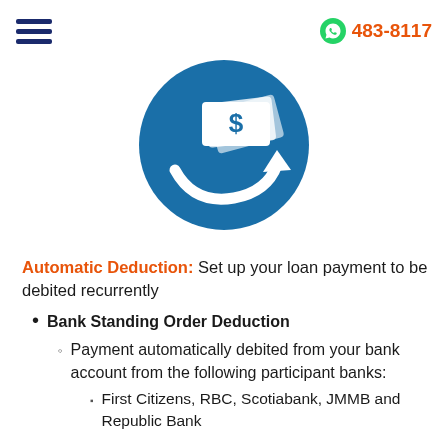483-8117
[Figure (illustration): Blue circular icon with white dollar banknotes and a white arrow curving upward to the right, representing automatic payment or money transfer]
Automatic Deduction: Set up your loan payment to be debited recurrently
Bank Standing Order Deduction
Payment automatically debited from your bank account from the following participant banks:
First Citizens, RBC, Scotiabank, JMMB and Republic Bank